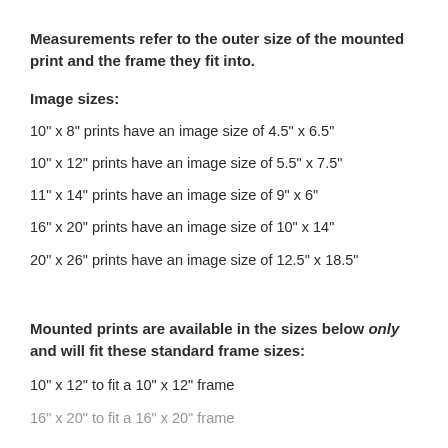Measurements refer to the outer size of the mounted print and the frame they fit into.
Image sizes:
10" x 8" prints have an image size of 4.5" x 6.5"
10" x 12" prints have an image size of 5.5" x 7.5"
11" x 14" prints have an image size of 9" x 6"
16" x 20" prints have an image size of 10" x 14"
20" x 26" prints have an image size of 12.5" x 18.5"
Mounted prints are available in the sizes below only and will fit these standard frame sizes:
10" x 12" to fit a 10" x 12" frame
16" x 20" to fit a 16" x 20" frame